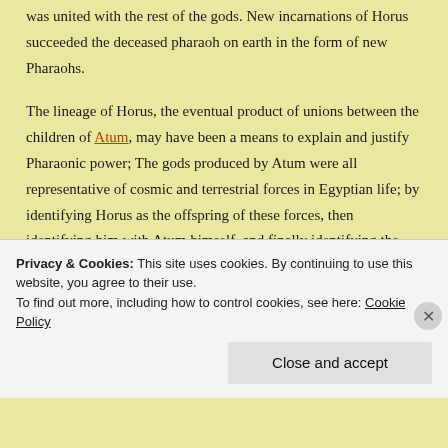was united with the rest of the gods. New incarnations of Horus succeeded the deceased pharaoh on earth in the form of new Pharaohs.
The lineage of Horus, the eventual product of unions between the children of Atum, may have been a means to explain and justify Pharaonic power; The gods produced by Atum were all representative of cosmic and terrestrial forces in Egyptian life; by identifying Horus as the offspring of these forces, then identifying him with Atum himself, and finally identifying the Pharaoh with Horus, the Pharaoh theologically had dominion over all the world.
Privacy & Cookies: This site uses cookies. By continuing to use this website, you agree to their use. To find out more, including how to control cookies, see here: Cookie Policy